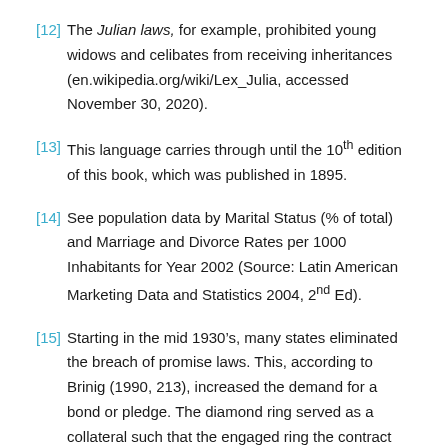[12] The Julian laws, for example, prohibited young widows and celibates from receiving inheritances (en.wikipedia.org/wiki/Lex_Julia, accessed November 30, 2020).
[13] This language carries through until the 10th edition of this book, which was published in 1895.
[14] See population data by Marital Status (% of total) and Marriage and Divorce Rates per 1000 Inhabitants for Year 2002 (Source: Latin American Marketing Data and Statistics 2004, 2nd Ed).
[15] Starting in the mid 1930’s, many states eliminated the breach of promise laws. This, according to Brinig (1990, 213), increased the demand for a bond or pledge. The diamond ring served as a collateral such that the engaged ring the contract could be...